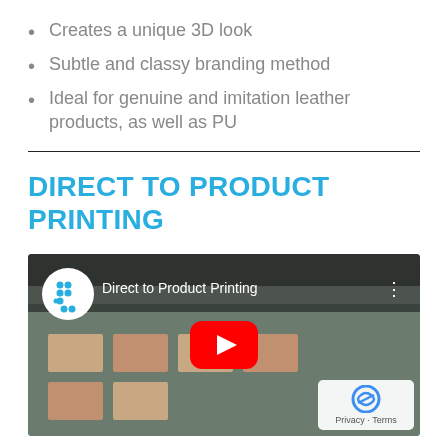Creates a unique 3D look
Subtle and classy branding method
Ideal for genuine and imitation leather products, as well as PU
DIRECT TO PRODUCT PRINTING
[Figure (screenshot): YouTube video thumbnail for 'Direct to Product Printing' showing a printing machine with items being printed, including channel icon, play button, and privacy/terms badge.]